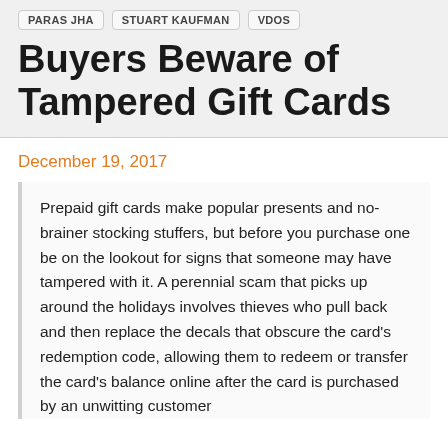PARAS JHA
STUART KAUFMAN
VDOS
Buyers Beware of Tampered Gift Cards
December 19, 2017
Prepaid gift cards make popular presents and no-brainer stocking stuffers, but before you purchase one be on the lookout for signs that someone may have tampered with it. A perennial scam that picks up around the holidays involves thieves who pull back and then replace the decals that obscure the card's redemption code, allowing them to redeem or transfer the card's balance online after the card is purchased by an unwitting customer